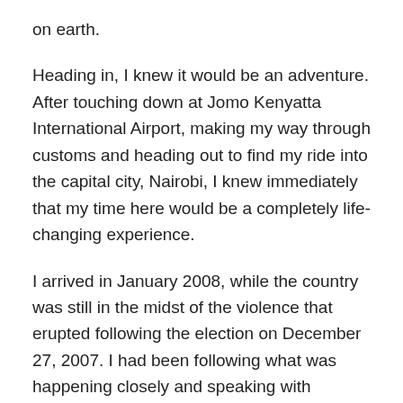on earth.
Heading in, I knew it would be an adventure. After touching down at Jomo Kenyatta International Airport, making my way through customs and heading out to find my ride into the capital city, Nairobi, I knew immediately that my time here would be a completely life-changing experience.
I arrived in January 2008, while the country was still in the midst of the violence that erupted following the election on December 27, 2007. I had been following what was happening closely and speaking with members of the Global Volunteer Network (the organization I was going with) who were currently in Kenya to decide if I should be pulling out like some of the others had – and like I'm sure many of my friends and family hoped I would. But in the